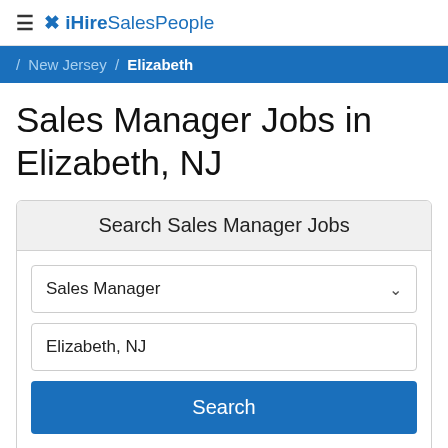iHireSalesPeople
/ New Jersey / Elizabeth
Sales Manager Jobs in Elizabeth, NJ
Search Sales Manager Jobs
Sales Manager
Elizabeth, NJ
Search
1-15 of 1,313 Jobs